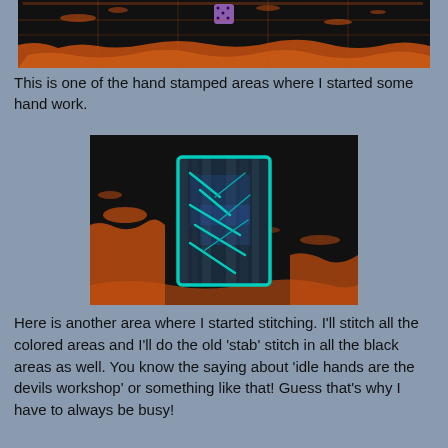[Figure (photo): Close-up photo of a hand-stamped black fabric with orange paint splatters and a small purple die or stamp mark visible in the center top area.]
This is one of the hand stamped areas where I started some hand work.
[Figure (photo): Close-up photo of a black fabric piece with orange paint splatters. A rectangular area in the center is outlined and filled with blue turquoise hand stitching in a cross-hatch pattern with shimmery fabric underneath.]
Here is another area where I started stitching. I'll stitch all the colored areas and I'll do the old 'stab' stitch in all the black areas as well. You know the saying about 'idle hands are the devils workshop' or something like that! Guess that's why I have to always be busy!